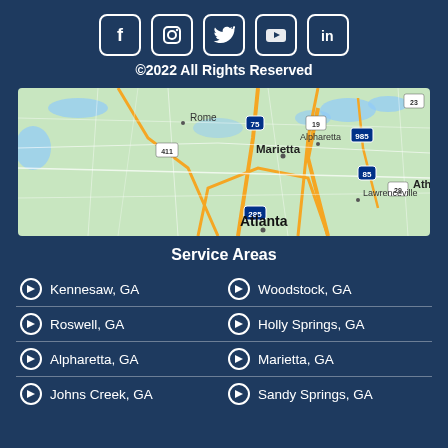[Figure (other): Social media icons row: Facebook, Instagram, Twitter, YouTube, LinkedIn — white icons in rounded square boxes on dark blue background]
©2022 All Rights Reserved
[Figure (map): Google Maps view of the Atlanta metropolitan area showing Marietta, Alpharetta, Lawrenceville, Rome, and Atlanta with highway markers including I-75, I-85, I-285, US-19, US-411, GA-985, GA-29, and GA-23]
Service Areas
Kennesaw, GA
Woodstock, GA
Roswell, GA
Holly Springs, GA
Alpharetta, GA
Marietta, GA
Johns Creek, GA
Sandy Springs, GA